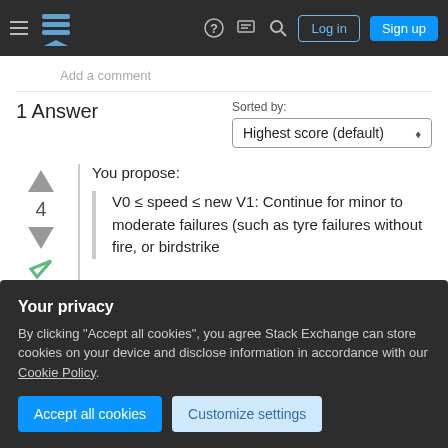Stack Exchange navigation bar with hamburger menu, logo, help, chat, search icons, Log in and Sign up buttons
Add a comment
1 Answer
Sorted by: Highest score (default)
You propose:
V0 ≤ speed ≤ new V1: Continue for minor to moderate failures (such as tyre failures without fire, or birdstrike
Your privacy
By clicking "Accept all cookies", you agree Stack Exchange can store cookies on your device and disclose information in accordance with our Cookie Policy.